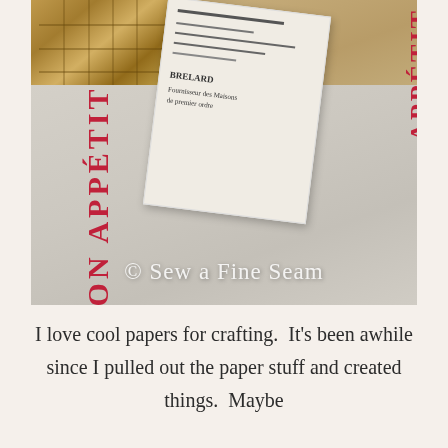[Figure (photo): Photo of a gray linen tea towel with 'BON APPETIT' printed in red letters, shown alongside a wicker basket, old books, and vintage French paper receipts on a taupe surface. A watermark reads '© Sew a Fine Seam'.]
I love cool papers for crafting.  It's been awhile since I pulled out the paper stuff and created things.  Maybe